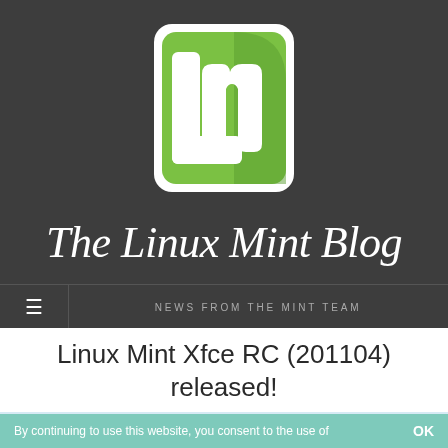[Figure (logo): Linux Mint logo — green rounded square with white 'lm' lettermark and white bracket shape on dark background]
The Linux Mint Blog
NEWS FROM THE MINT TEAM
Linux Mint Xfce RC (201104) released!
[Figure (screenshot): Advertisement: Ashley Sleep — Rediscover Ashley Sleep with shop now button]
By continuing to use this website, you consent to the use of   OK